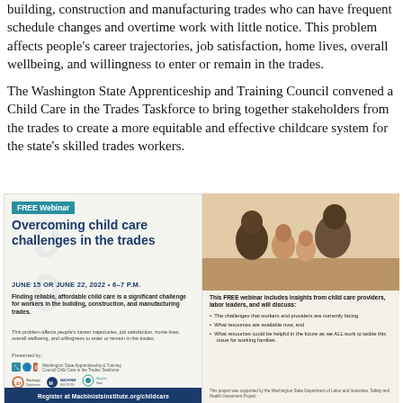building, construction and manufacturing trades who can have frequent schedule changes and overtime work with little notice. This problem affects people's career trajectories, job satisfaction, home lives, overall wellbeing, and willingness to enter or remain in the trades.
The Washington State Apprenticeship and Training Council convened a Child Care in the Trades Taskforce to bring together stakeholders from the trades to create a more equitable and effective childcare system for the state's skilled trades workers.
[Figure (infographic): FREE Webinar flyer for 'Overcoming child care challenges in the trades', June 15 or June 22, 2022 6–7 PM. Left panel shows webinar title, date, description about finding reliable affordable child care being a challenge for trades workers, presenter logos (Washington State Apprenticeship & Training Council, Machinists Institute, WA State L&I). Bottom bar: Register at Machinistsinstitute.org/childcare. Right panel shows photo of Black family with children, and bullet points about webinar content including insights from child care providers and labor leaders.]